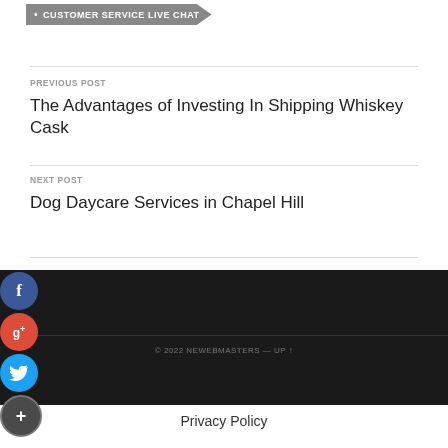[Figure (other): Customer Service Live Chat button with arrow shape in grey]
PREVIOUS POST
The Advantages of Investing In Shipping Whiskey Cask
NEXT POST
Dog Daycare Services in Chapel Hill
[Figure (other): Social media icons: Facebook (blue), Google+ (red), Twitter (blue), Plus/Share (dark grey)]
© 2022 NEWEBMASTERS — UP ↑
Privacy Policy